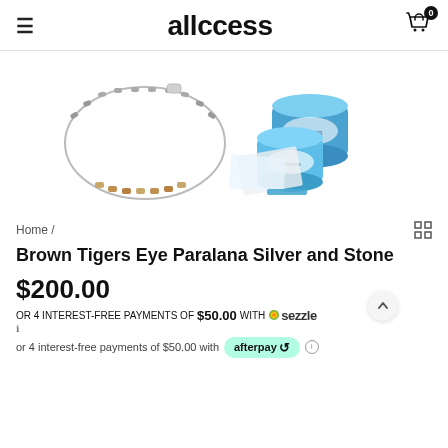allccess
[Figure (photo): Two product images: a brown tigers eye beaded bracelet with silver clasp on the left, and blue containers/jars with packaging on the right]
Home /
Brown Tigers Eye Paralana Silver and Stone
$200.00
OR 4 INTEREST-FREE PAYMENTS OF $50.00 WITH sezzle
or 4 interest-free payments of $50.00 with afterpay